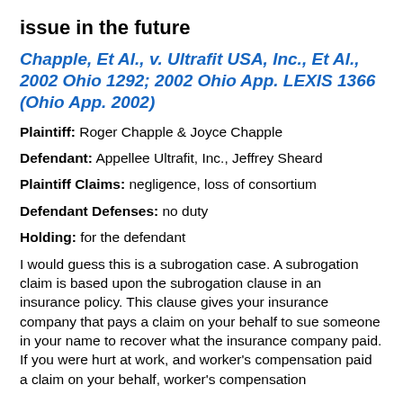issue in the future
Chapple, Et Al., v. Ultrafit USA, Inc., Et Al., 2002 Ohio 1292; 2002 Ohio App. LEXIS 1366 (Ohio App. 2002)
Plaintiff: Roger Chapple & Joyce Chapple
Defendant: Appellee Ultrafit, Inc., Jeffrey Sheard
Plaintiff Claims: negligence, loss of consortium
Defendant Defenses: no duty
Holding: for the defendant
I would guess this is a subrogation case. A subrogation claim is based upon the subrogation clause in an insurance policy. This clause gives your insurance company that pays a claim on your behalf to sue someone in your name to recover what the insurance company paid. If you were hurt at work, and worker's compensation paid a claim on your behalf, worker's compensation